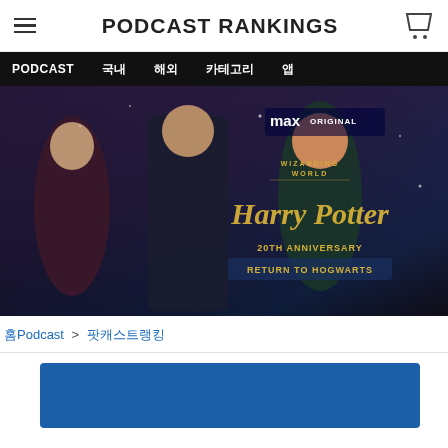PODCAST RANKINGS
[Figure (screenshot): Navigation bar with PODCAST, Korean menu items (characters for categories)]
[Figure (photo): Harry Potter 20th Anniversary: Return to Hogwarts – Max Original promotional banner featuring Emma Watson, Daniel Radcliffe, and Rupert Grint in front of Hogwarts Great Hall with Harry Potter logo and Wizarding World branding]
Podcast > (Korean characters for category)
[Figure (other): Blue card / content block at the bottom of the page]